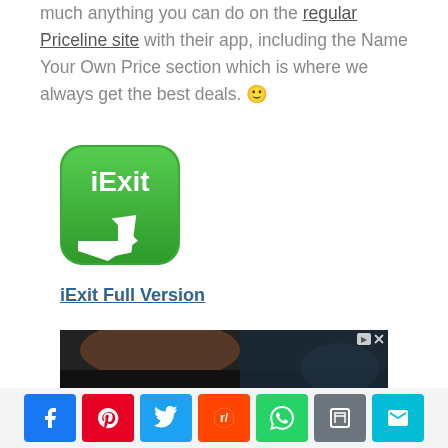much anything you can do on the regular Priceline site with their app, including the Name Your Own Price section which is where we always get the best deals. 🙂
[Figure (logo): iExit app icon — green rounded square with white arrow pointing upper right and 'iExit' text in white]
iExit Full Version
[Figure (photo): Screenshot of a video ad showing interior of a car, partially visible]
[Figure (infographic): Social share buttons row: Facebook, Pinterest, Twitter, Reddit, WhatsApp, Print, Email]